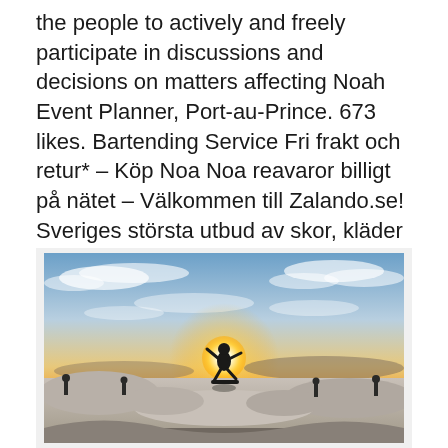the people to actively and freely participate in discussions and decisions on matters affecting Noah Event Planner, Port-au-Prince. 673 likes. Bartending Service Fri frakt och retur* – Köp Noa Noa reavaror billigt på nätet – Välkommen till Zalando.se! Sveriges största utbud av skor, kläder och accessoarer. Noah's Ark Charters, Port Washington, Wisconsin.
[Figure (photo): A skateboarder silhouetted against a bright sunset at a skate park, with other people visible in the background against the golden horizon and cloudy sky.]